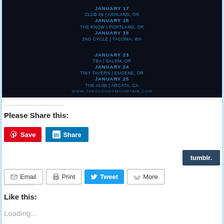[Figure (illustration): Dark concert poster with blue text listing tour dates: January 17 Club 66 Ashland OR, January 23 TBA Salem OR, January 18 The Know Portland OR, January 24 Tiny Tavern Eugene OR, January 19 2nd Cycle Tacoma WA, January 25 The Alibi Arcata CA, and website URL www.thecloudymountain.com]
Please Share this:
[Figure (other): Social share buttons: Save (Pinterest), Share (LinkedIn), tumblr., Email, Print, Tweet, More]
Like this:
Loading...